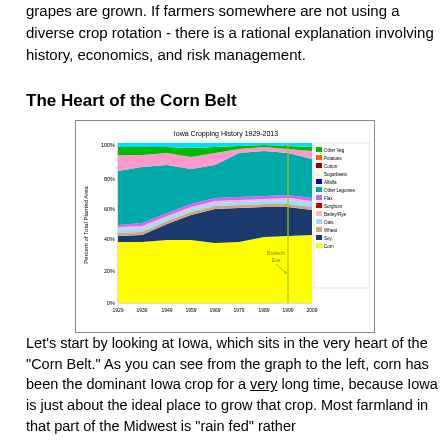grapes are grown. If farmers somewhere are not using a diverse crop rotation - there is a rational explanation involving history, economics, and risk management.
The Heart of the Corn Belt
[Figure (area-chart): Stacked area chart showing the percent of total planted area in Iowa for various crops from 1929 to 2013. Corn (yellow) is the dominant crop throughout. Soy (dark blue) increases significantly after ~1960. Other crops (Oats, Wheat, Alfalfa, Sorghum, etc.) are shown in smaller bands. A vertical line marks the 'Biotech Era' around 1996.]
Let's start by looking at Iowa, which sits in the very heart of the "Corn Belt." As you can see from the graph to the left, corn has been the dominant Iowa crop for a very long time, because Iowa is just about the ideal place to grow that crop. Most farmland in that part of the Midwest is "rain fed" rather